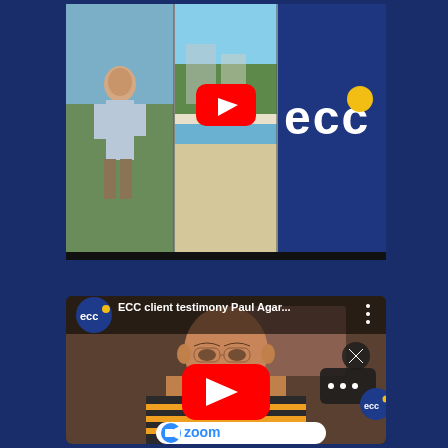[Figure (screenshot): Top composite image showing: left panel - man standing outdoors on hillside with ocean background; center panel - beach scene with YouTube play button overlay; right panel - dark blue ECC logo with orange/yellow dot on dark navy background.]
[Figure (screenshot): Bottom YouTube video screenshot titled 'ECC client testimony Paul Agar...' showing a bald man with glasses wearing a striped shirt. ECC circular logo top-left, three-dot menu top-right, X close button, dark menu popup with ellipsis, ECC circular logo bottom-right, and a Zoom button overlay at the bottom with camera icon.]